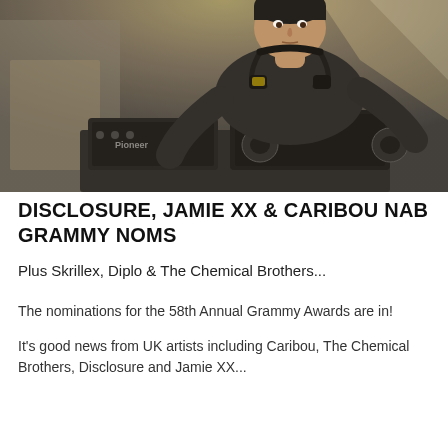[Figure (photo): A young male DJ standing behind Pioneer DJ equipment, wearing headphones around his neck and a dark jacket, with stage lighting behind him.]
DISCLOSURE, JAMIE XX & CARIBOU NAB GRAMMY NOMS
Plus Skrillex, Diplo & The Chemical Brothers...
The nominations for the 58th Annual Grammy Awards are in!
It's good news from UK artists including Caribou, The Chemical Brothers, Disclosure and Jamie XX...